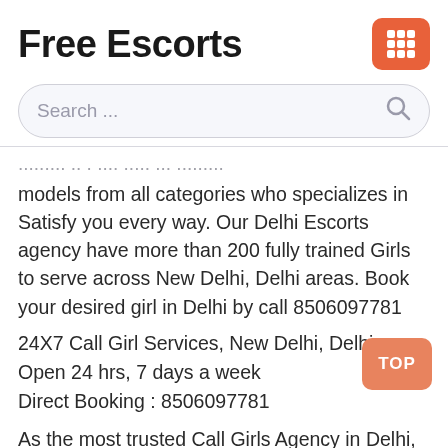Free Escorts
[Figure (other): Orange grid/menu icon (3x3 squares) on orange rounded rectangle background]
Search ...
models from all categories who specializes in Satisfy you every way. Our Delhi Escorts agency have more than 200 fully trained Girls to serve across New Delhi, Delhi areas. Book your desired girl in Delhi by call 8506097781
24X7 Call Girl Services, New Delhi, Delhi
Open 24 hrs, 7 days a week
Direct Booking : 8506097781
[Figure (other): Orange rounded rectangle button with text TOP]
As the most trusted Call Girls Agency in Delhi, we are always committed for providing the top escorts girl at reasonable prices. Contact us today to hire Delhi